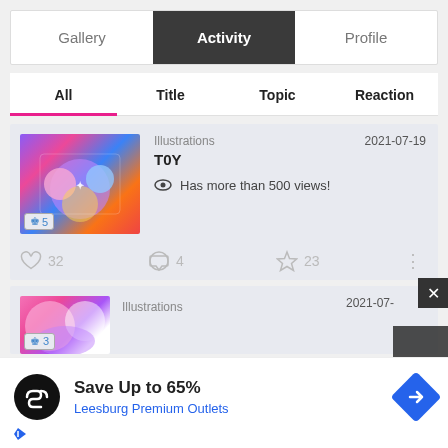Gallery | Activity | Profile
All | Title | Topic | Reaction
2021-07-19
Illustrations
T0Y
👁 Has more than 500 views!
32 ♡  4 💬  23 ★
2021-07-  Illustrations
[Figure (screenshot): Advertisement overlay: black circle logo with infinity symbol, text 'Save Up to 65%' and 'Leesburg Premium Outlets', blue diamond arrow icon, and close X button in top right corner]